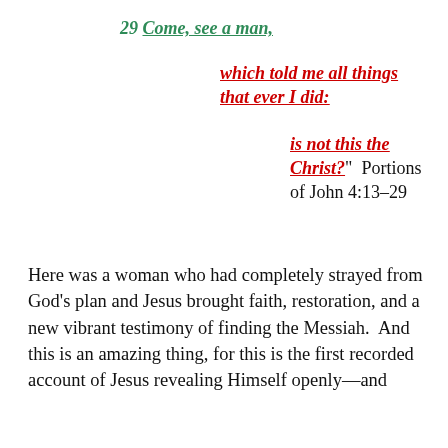29 Come, see a man,
which told me all things that ever I did:
is not this the Christ?" Portions of John 4:13-29
Here was a woman who had completely strayed from God's plan and Jesus brought faith, restoration, and a new vibrant testimony of finding the Messiah.  And this is an amazing thing, for this is the first recorded account of Jesus revealing Himself openly—and